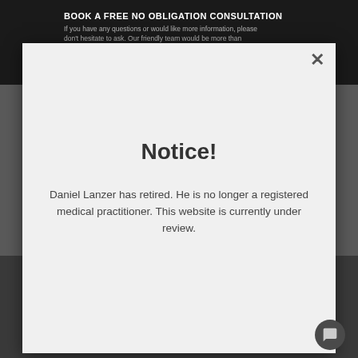BOOK A FREE NO OBLIGATION CONSULTATION
If you have any questions or would like more information, please don't hesitate to ask. Our friendly team would be more than
[Figure (screenshot): Modal dialog overlay on a medical website with a close X button in the top right corner]
Notice!
Daniel Lanzer has retired. He is no longer a registered medical practitioner. This website is currently under review.
The combination of liposuction and a tumescent sol- enables Dr Lanzer to prepare the fat before it is remo- from the body. A tumescent solution also sedates and